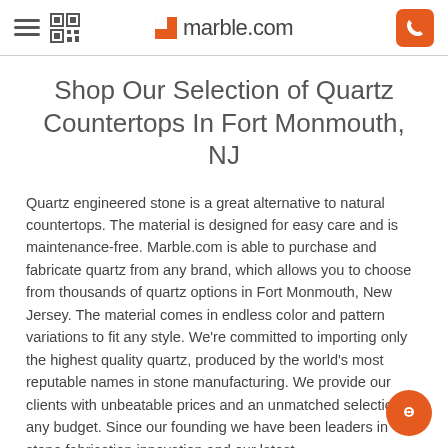marble.com
Shop Our Selection of Quartz Countertops In Fort Monmouth, NJ
Quartz engineered stone is a great alternative to natural countertops. The material is designed for easy care and is maintenance-free. Marble.com is able to purchase and fabricate quartz from any brand, which allows you to choose from thousands of quartz options in Fort Monmouth, New Jersey. The material comes in endless color and pattern variations to fit any style. We're committed to importing only the highest quality quartz, produced by the world's most reputable names in stone manufacturing. We provide our clients with unbeatable prices and an unmatched selection at any budget. Since our founding we have been leaders in stone fabrication innovation and our latest